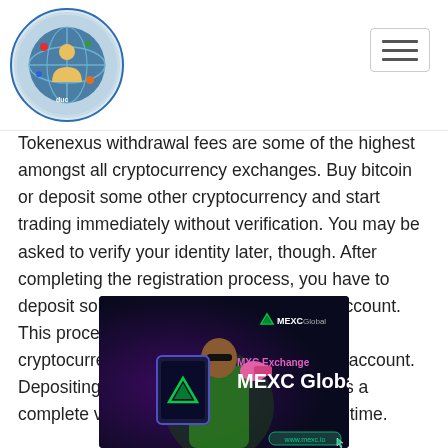[Tokenexus logo and navigation]
Tokenexus withdrawal fees are some of the highest amongst all cryptocurrency exchanges. Buy bitcoin or deposit some other cryptocurrency and start trading immediately without verification. You may be asked to verify your identity later, though. After completing the registration process, you have to deposit some funds into your Tokenexus account. This process includes depositing using a cryptocurrency rather than through a bank account. Depositing using the bank account requires a complete verification process, which takes time.
[Figure (photo): MEXC Global advertisement banner showing a person holding a tablet with MEXC logo, with text 'MXC Exchange MEXC Global' and website www.mexc.io on a dark background]